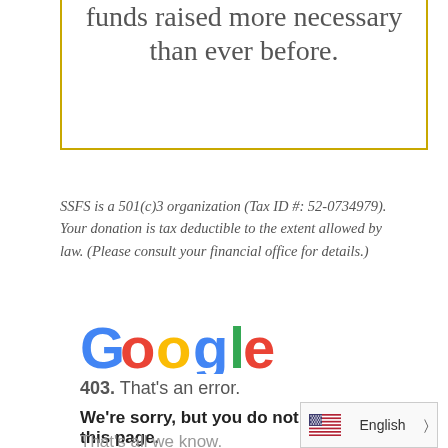funds raised more necessary than ever before.
SSFS is a 501(c)3 organization (Tax ID #: 52-0734979). Your donation is tax deductible to the extent allowed by law. (Please consult your financial office for details.)
[Figure (logo): Google logo in multicolor letters]
403. That's an error.
We're sorry, but you do not have access to this page. That's all we know.
[Figure (infographic): Language selector showing US flag and English with right arrow]